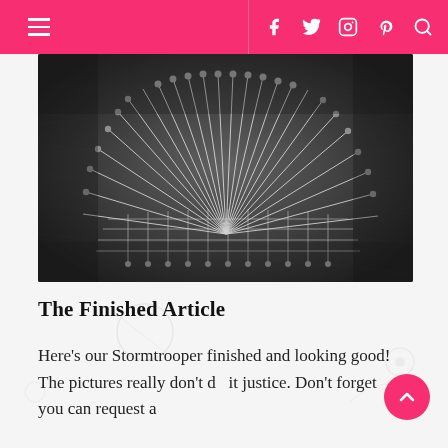Navigation bar with hamburger menu and social icons (Facebook, Twitter, Instagram, Pinterest, Search)
[Figure (photo): Black and white close-up photograph of a string art project resembling a Stormtrooper helmet, with white threads stretched across nails on a dark fabric background.]
The Finished Article
Here's our Stormtrooper finished and looking good! The pictures really don't do it justice. Don't forget you can request a